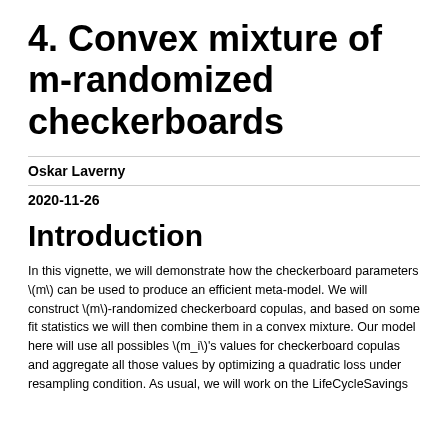4. Convex mixture of m-randomized checkerboards
Oskar Laverny
2020-11-26
Introduction
In this vignette, we will demonstrate how the checkerboard parameters \(m\) can be used to produce an efficient meta-model. We will construct \(m\)-randomized checkerboard copulas, and based on some fit statistics we will then combine them in a convex mixture. Our model here will use all possibles \(m_i\)'s values for checkerboard copulas and aggregate all those values by optimizing a quadratic loss under resampling condition. As usual, we will work on the LifeCycleSavings